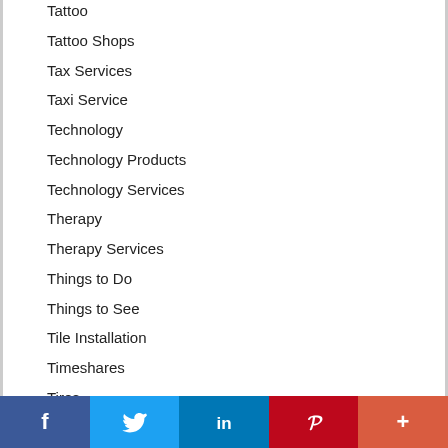Tattoo
Tattoo Shops
Tax Services
Taxi Service
Technology
Technology Products
Technology Services
Therapy
Therapy Services
Things to Do
Things to See
Tile Installation
Timeshares
Tires
[Figure (infographic): Social media share bar with Facebook, Twitter, LinkedIn, Pinterest, and More buttons]